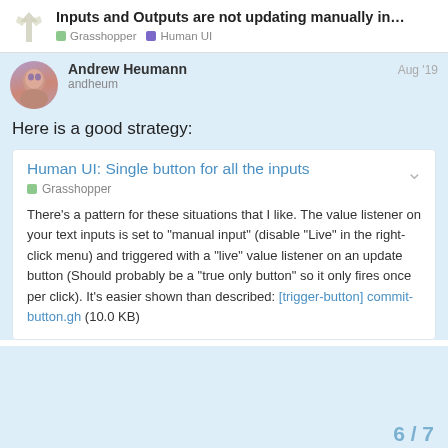Inputs and Outputs are not updating manually in... | Grasshopper | Human UI
Here is a good strategy:
Human UI: Single button for all the inputs
There’s a pattern for these situations that I like. The value listener on your text inputs is set to “manual input” (disable “Live” in the right-click menu) and triggered with a “live” value listener on an update button (Should probably be a “true only button” so it only fires once per click). It’s easier shown than described: [trigger-button] commit-button.gh (10.0 KB)
6 / 7